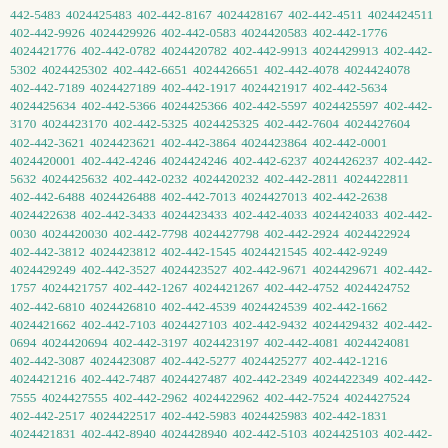442-5483 4024425483 402-442-8167 4024428167 402-442-4511 4024424511 402-442-9926 4024429926 402-442-0583 4024420583 402-442-1776 4024421776 402-442-0782 4024420782 402-442-9913 4024429913 402-442-5302 4024425302 402-442-6651 4024426651 402-442-4078 4024424078 402-442-7189 4024427189 402-442-1917 4024421917 402-442-5634 4024425634 402-442-5366 4024425366 402-442-5597 4024425597 402-442-3170 4024423170 402-442-5325 4024425325 402-442-7604 4024427604 402-442-3621 4024423621 402-442-3864 4024423864 402-442-0001 4024420001 402-442-4246 4024424246 402-442-6237 4024426237 402-442-5632 4024425632 402-442-0232 4024420232 402-442-2811 4024422811 402-442-6488 4024426488 402-442-7013 4024427013 402-442-2638 4024422638 402-442-3433 4024423433 402-442-4033 4024424033 402-442-0030 4024420030 402-442-7798 4024427798 402-442-2924 4024422924 402-442-3812 4024423812 402-442-1545 4024421545 402-442-9249 4024429249 402-442-3527 4024423527 402-442-9671 4024429671 402-442-1757 4024421757 402-442-1267 4024421267 402-442-4752 4024424752 402-442-6810 4024426810 402-442-4539 4024424539 402-442-1662 4024421662 402-442-7103 4024427103 402-442-9432 4024429432 402-442-0694 4024420694 402-442-3197 4024423197 402-442-4081 4024424081 402-442-3087 4024423087 402-442-5277 4024425277 402-442-1216 4024421216 402-442-7487 4024427487 402-442-2349 4024422349 402-442-7555 4024427555 402-442-2962 4024422962 402-442-7524 4024427524 402-442-2517 4024422517 402-442-5983 4024425983 402-442-1831 4024421831 402-442-8940 4024428940 402-442-5103 4024425103 402-442-0795 4024420795 402-442-3421 4024423421 402-442-1387 4024421387 402-442-7702